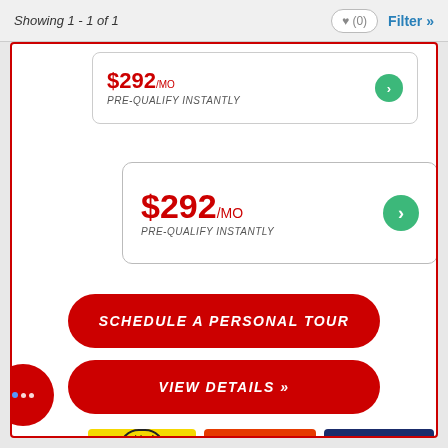Showing 1 - 1 of 1
$292/MO PRE-QUALIFY INSTANTLY
$292/MO PRE-QUALIFY INSTANTLY
SCHEDULE A PERSONAL TOUR
VIEW DETAILS »
[Figure (logo): virtual tour badge, yellow background with oval border and arrow]
[Figure (logo): AWESOME COUPLES TRAILER badge, red background white text]
[Figure (logo): REAR BATH badge, dark blue background white text]